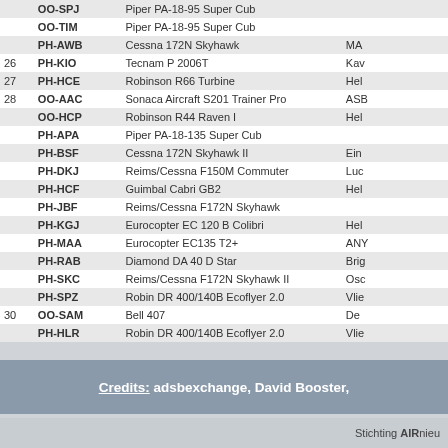|  | Reg | Type | Org |
| --- | --- | --- | --- |
|  | OO-SPJ | Piper PA-18-95 Super Cub |  |
|  | OO-TIM | Piper PA-18-95 Super Cub |  |
|  | PH-AWB | Cessna 172N Skyhawk | MA… |
| 26 | PH-KIO | Tecnam P 2006T | Kav… |
| 27 | PH-HCE | Robinson R66 Turbine | Hel… |
| 28 | OO-AAC | Sonaca Aircraft S201 Trainer Pro | ASB… |
|  | OO-HCP | Robinson R44 Raven I | Hel… |
|  | PH-APA | Piper PA-18-135 Super Cub |  |
|  | PH-BSF | Cessna 172N Skyhawk II | Ein… |
|  | PH-DKJ | Reims/Cessna F150M Commuter | Luc… |
|  | PH-HCF | Guimbal Cabri GB2 | Hel… |
|  | PH-JBF | Reims/Cessna F172N Skyhawk |  |
|  | PH-KGJ | Eurocopter EC 120 B Colibri | Hel… |
|  | PH-MAA | Eurocopter EC135 T2+ | ANY… |
|  | PH-RAB | Diamond DA 40 D Star | Brig… |
|  | PH-SKC | Reims/Cessna F172N Skyhawk II | Osc… |
|  | PH-SPZ | Robin DR 400/140B Ecoflyer 2.0 | Vlie… |
| 30 | OO-SAM | Bell 407 | De … |
|  | PH-HLR | Robin DR 400/140B Ecoflyer 2.0 | Vlie… |
Credits: adsbexchange, David Booster,
Stichting AIRnieu…